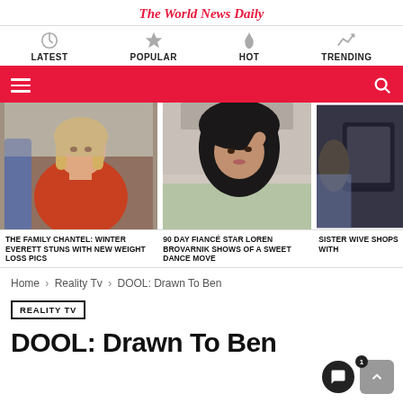The World News Daily
LATEST
POPULAR
HOT
TRENDING
[Figure (screenshot): Three article thumbnail images side by side showing TV personalities]
THE FAMILY CHANTEL: WINTER EVERETT STUNS WITH NEW WEIGHT LOSS PICS
90 DAY FIANCÉ STAR LOREN BROVARNIK SHOWS OF A SWEET DANCE MOVE
SISTER WIVE SHOPS WITH
Home › Reality Tv › DOOL: Drawn To Ben
REALITY TV
DOOL: Drawn To Ben